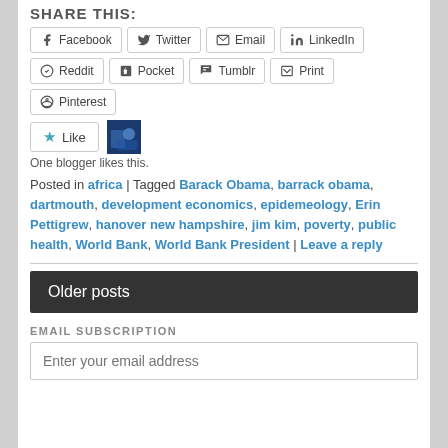SHARE THIS:
Facebook | Twitter | Email | LinkedIn | Reddit | Pocket | Tumblr | Print | Pinterest
[Figure (other): Like button with star icon and blogger avatar thumbnail]
One blogger likes this.
Posted in africa | Tagged Barack Obama, barrack obama, dartmouth, development economics, epidemeology, Erin Pettigrew, hanover new hampshire, jim kim, poverty, public health, World Bank, World Bank President | Leave a reply
Older posts
EMAIL SUBSCRIPTION
Enter your email address